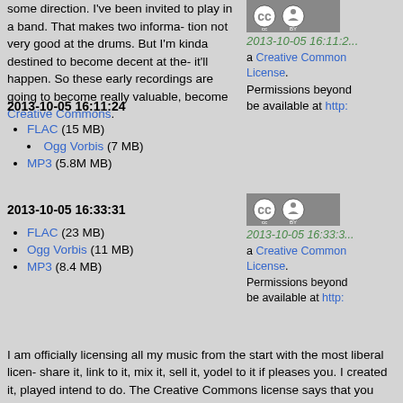some direction. I've been invited to play in a band. That makes two informa... not very good at the drums. But I'm kinda destined to become decent at the... it'll happen. So these early recordings are going to become really valuable,... become Creative Commons.
2013-10-05 16:11:24
FLAC (15 MB)
Ogg Vorbis (7 MB)
MP3 (5.8M MB)
[Figure (logo): Creative Commons BY license badge]
2013-10-05 16:11:2... a Creative Commons... License. Permissions beyond... be available at http:...
2013-10-05 16:33:31
FLAC (23 MB)
Ogg Vorbis (11 MB)
MP3 (8.4 MB)
[Figure (logo): Creative Commons BY license badge]
2013-10-05 16:33:3... a Creative Commons... License. Permissions beyond... be available at http:...
I am officially licensing all my music from the start with the most liberal licen... share it, link to it, mix it, sell it, yodel to it if pleases you. I created it, played... intend to do. The Creative Commons license says that you should attribute... can be a bother, so if you use it without attributing me, I won't think too muc... project is so big that it uses my samples. I'm not going to say anything if i...